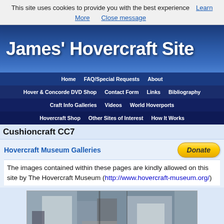This site uses cookies to provide you with the best experience  Learn More   Close message
[Figure (screenshot): James' Hovercraft Site banner with blue hovercraft background]
James' Hovercraft Site
Home  FAQ/Special Requests  About  Hover & Concorde DVD Shop  Contact Form  Links  Bibliography  Craft Info Galleries  Videos  World Hoverports  Hovercraft Shop  Other Sites of Interest  How It Works
Cushioncraft CC7
Hovercraft Museum Galleries
The images contained within these pages are kindly allowed on this site by The Hovercraft Museum (http://www.hovercraft-museum.org/)
[Figure (photo): Interior mechanical components of a Cushioncraft CC7 hovercraft, showing metal panels and structural parts. Watermark reads CC7 004.]